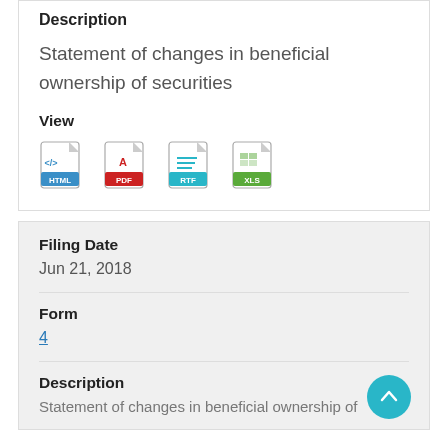Description
Statement of changes in beneficial ownership of securities
View
[Figure (other): Row of file format icons: HTML, PDF, RTF, XLS]
Filing Date
Jun 21, 2018
Form
4
Description
Statement of changes in beneficial ownership of